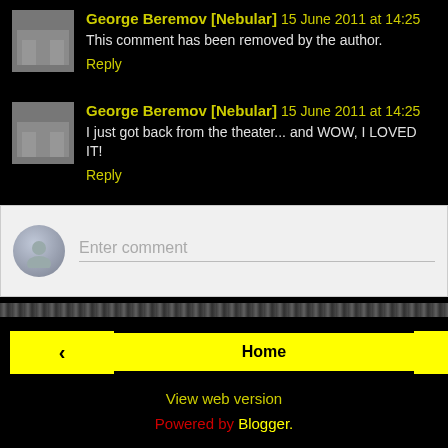George Beremov [Nebular] 15 June 2011 at 14:25
This comment has been removed by the author.
Reply
George Beremov [Nebular] 15 June 2011 at 14:25
I just got back from the theater... and WOW, I LOVED IT!
Reply
Enter comment
Home
View web version
Powered by Blogger.